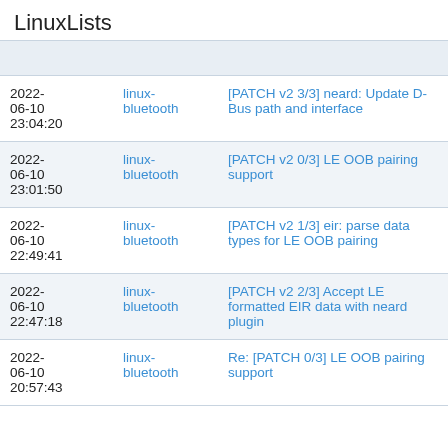LinuxLists
|  |  |  |
| --- | --- | --- |
| 2022-06-10 23:04:20 | linux-bluetooth | [PATCH v2 3/3] neard: Update D-Bus path and interface |
| 2022-06-10 23:01:50 | linux-bluetooth | [PATCH v2 0/3] LE OOB pairing support |
| 2022-06-10 22:49:41 | linux-bluetooth | [PATCH v2 1/3] eir: parse data types for LE OOB pairing |
| 2022-06-10 22:47:18 | linux-bluetooth | [PATCH v2 2/3] Accept LE formatted EIR data with neard plugin |
| 2022-06-10 20:57:43 | linux-bluetooth | Re: [PATCH 0/3] LE OOB pairing support |